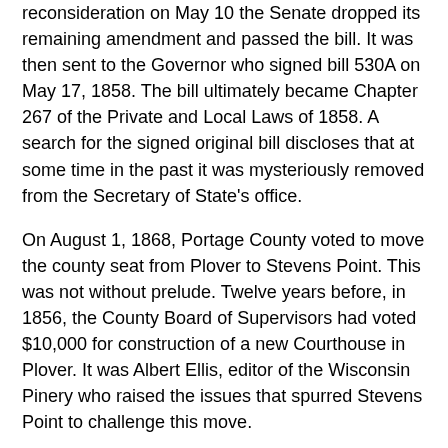reconsideration on May 10 the Senate dropped its remaining amendment and passed the bill. It was then sent to the Governor who signed bill 530A on May 17, 1858. The bill ultimately became Chapter 267 of the Private and Local Laws of 1858. A search for the signed original bill discloses that at some time in the past it was mysteriously removed from the Secretary of State's office.
On August 1, 1868, Portage County voted to move the county seat from Plover to Stevens Point. This was not without prelude. Twelve years before, in 1856, the County Board of Supervisors had voted $10,000 for construction of a new Courthouse in Plover. It was Albert Ellis, editor of the Wisconsin Pinery who raised the issues that spurred Stevens Point to challenge this move.
1. Stevens Point Comprehensive Plan,, 2005, wi-stevenspoint.civicplus.com, accessed July, 2017.